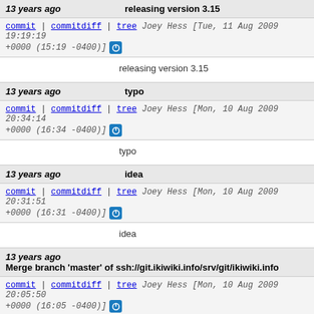13 years ago | releasing version 3.15
commit | commitdiff | tree   Joey Hess [Tue, 11 Aug 2009 19:19:19 +0000 (15:19 -0400)]
releasing version 3.15
13 years ago | typo
commit | commitdiff | tree   Joey Hess [Mon, 10 Aug 2009 20:34:14 +0000 (16:34 -0400)]
typo
13 years ago | idea
commit | commitdiff | tree   Joey Hess [Mon, 10 Aug 2009 20:31:51 +0000 (16:31 -0400)]
idea
13 years ago | Merge branch 'master' of ssh://git.ikiwiki.info/srv/git/ikiwiki.info
commit | commitdiff | tree   Joey Hess [Mon, 10 Aug 2009 20:05:50 +0000 (16:05 -0400)]